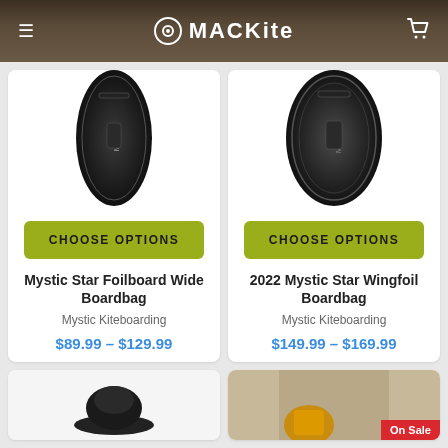MACKite
[Figure (photo): Mystic Star Foilboard Wide Boardbag - black board bag viewed from top]
CHOOSE OPTIONS
Mystic Star Foilboard Wide Boardbag
Mystic Kiteboarding
$89.99 – $129.99
[Figure (photo): 2022 Mystic Star Wingfoil Boardbag - black board bag viewed from top]
CHOOSE OPTIONS
2022 Mystic Star Wingfoil Boardbag
Mystic Kiteboarding
$149.99 – $169.99
[Figure (photo): Partial view of a dark cap/hat]
[Figure (photo): Product image with On Sale badge]